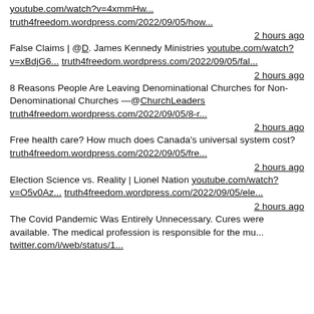youtube.com/watch?v=4xmmHw... truth4freedom.wordpress.com/2022/09/05/how...
2 hours ago
False Claims | @D. James Kennedy Ministries youtube.com/watch?v=xBdjG6... truth4freedom.wordpress.com/2022/09/05/fal...
2 hours ago
8 Reasons People Are Leaving Denominational Churches for Non-Denominational Churches —@ChurchLeaders truth4freedom.wordpress.com/2022/09/05/8-r...
2 hours ago
Free health care? How much does Canada's universal system cost? truth4freedom.wordpress.com/2022/09/05/fre...
2 hours ago
Election Science vs. Reality | Lionel Nation youtube.com/watch?v=O5v0Az... truth4freedom.wordpress.com/2022/09/05/ele...
2 hours ago
The Covid Pandemic Was Entirely Unnecessary. Cures were available. The medical profession is responsible for the mu... twitter.com/i/web/status/1...